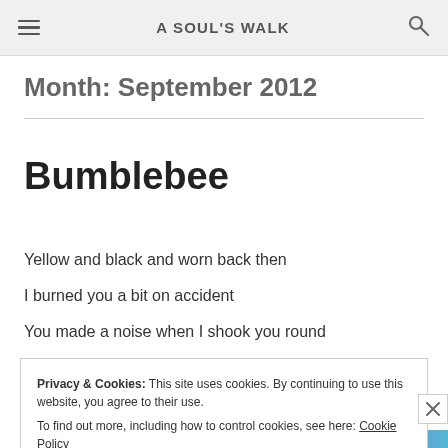A SOUL'S WALK
Month: September 2012
Bumblebee
Yellow and black and worn back then
I burned you a bit on accident
You made a noise when I shook you round
Privacy & Cookies: This site uses cookies. By continuing to use this website, you agree to their use.
To find out more, including how to control cookies, see here: Cookie Policy
Close and accept